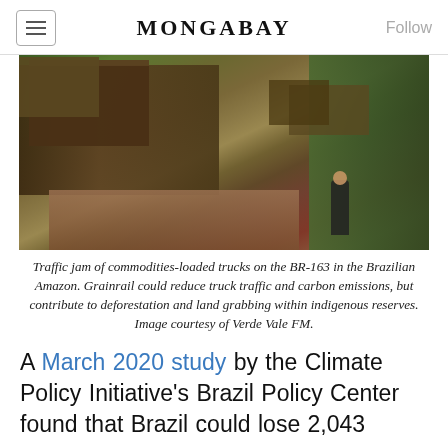MONGABAY
[Figure (photo): Traffic jam of commodities-loaded trucks on the BR-163 highway in the Brazilian Amazon, showing a long line of large trucks on a muddy dirt road surrounded by green vegetation.]
Traffic jam of commodities-loaded trucks on the BR-163 in the Brazilian Amazon. Grainrail could reduce truck traffic and carbon emissions, but contribute to deforestation and land grabbing within indigenous reserves. Image courtesy of Verde Vale FM.
A March 2020 study by the Climate Policy Initiative's Brazil Policy Center found that Brazil could lose 2,043